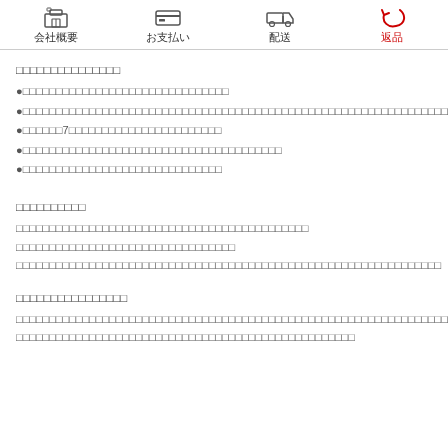会社概要　お支払い　配送　返品
□□□□□□□□□□□□□□□
●□□□□□□□□□□□□□□□□□□□□□□□□□□□□□□□
●□□□□□□□□□□□□□□□□□□□□□□□□□□□□□□□□□□□□□□□□□□□□□□□□□□□□□□□□□□□□□□□□□□□□□□
●□□□□□□7□□□□□□□□□□□□□□□□□□□□□□□
●□□□□□□□□□□□□□□□□□□□□□□□□□□□□□□□□□□□□□□□
●□□□□□□□□□□□□□□□□□□□□□□□□□□□□□□
□□□□□□□□□□
□□□□□□□□□□□□□□□□□□□□□□□□□□□□□□□□□□□□□□□□□□□□
□□□□□□□□□□□□□□□□□□□□□□□□□□□□□□□□□
□□□□□□□□□□□□□□□□□□□□□□□□□□□□□□□□□□□□□□□□□□□□□□□□□□□□□□□□□□□□□□□□
□□□□□□□□□□□□□□□□
□□□□□□□□□□□□□□□□□□□□□□□□□□□□□□□□□□□□□□□□□□□□□□□□□□□□□□□□□□□□□□□□□□□□□
□□□□□□□□□□□□□□□□□□□□□□□□□□□□□□□□□□□□□□□□□□□□□□□□□□□